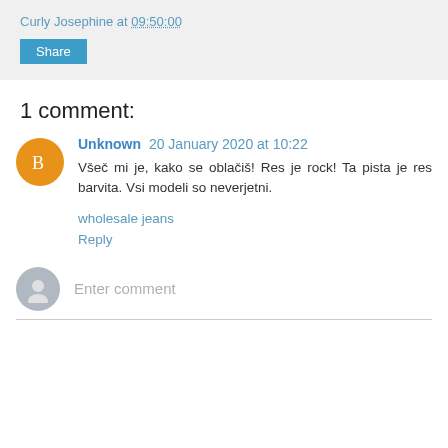Curly Josephine at 09:50:00
Share
1 comment:
Unknown 20 January 2020 at 10:22
Všeč mi je, kako se oblačiš! Res je rock! Ta pista je res barvita. Vsi modeli so neverjetni.
wholesale jeans
Reply
Enter comment